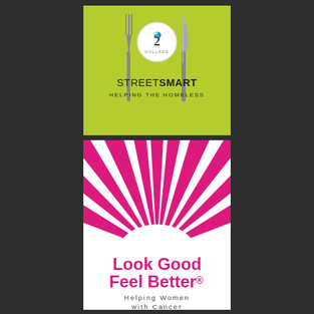[Figure (logo): StreetSmart Helping the Homeless logo: lime green background with fork, Australian 2-dollar coin, and knife, text 'STREETSMART HELPING THE HOMELESS']
[Figure (logo): Look Good Feel Better logo: white background with pink sunburst rays graphic, text 'Look Good Feel Better® Helping Women with Cancer']